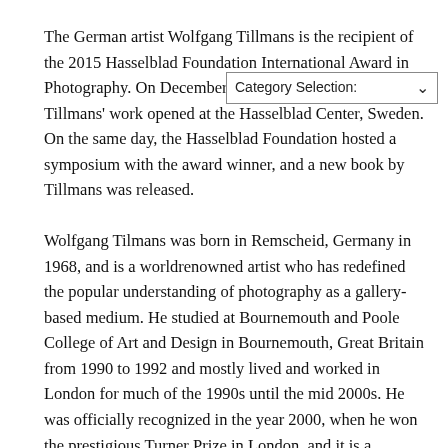The German artist Wolfgang Tillmans is the recipient of the 2015 Hasselblad Foundation International Award in Photography. On December 1, 2015 an exhibition of Tillmans' work opened at the Hasselblad Center, Sweden. On the same day, the Hasselblad Foundation hosted a symposium with the award winner, and a new book by Tillmans was released.
Wolfgang Tilmans was born in Remscheid, Germany in 1968, and is a worldrenowned artist who has redefined the popular understanding of photography as a gallery-based medium. He studied at Bournemouth and Poole College of Art and Design in Bournemouth, Great Britain from 1990 to 1992 and mostly lived and worked in London for much of the 1990s until the mid 2000s. He was officially recognized in the year 2000, when he won the prestigious Turner Prize in London, and it is a